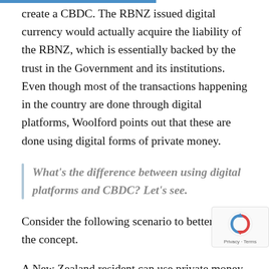create a CBDC. The RBNZ issued digital currency would actually acquire the liability of the RBNZ, which is essentially backed by the trust in the Government and its institutions. Even though most of the transactions happening in the country are done through digital platforms, Woolford points out that these are done using digital forms of private money.
What's the difference between using digital platforms and CBDC? Let's see.
Consider the following scenario to better grasp the concept.
A New Zealand resident can use private money in